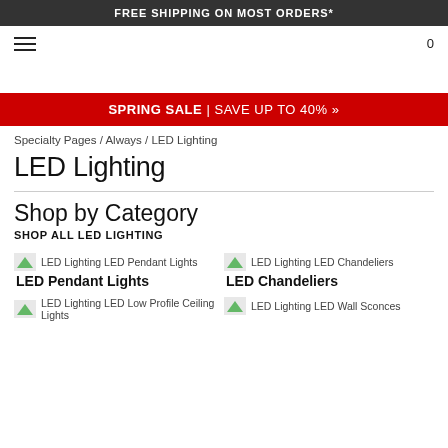FREE SHIPPING ON MOST ORDERS*
0
SPRING SALE | SAVE UP TO 40% »
Specialty Pages / Always / LED Lighting
LED Lighting
Shop by Category
SHOP ALL LED LIGHTING
LED Lighting LED Pendant Lights
LED Pendant Lights
LED Lighting LED Chandeliers
LED Chandeliers
LED Lighting LED Low Profile Ceiling Lights
LED Lighting LED Wall Sconces